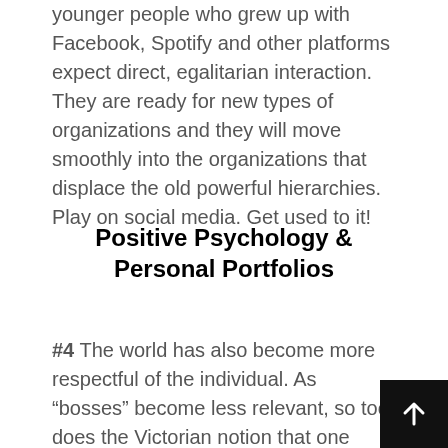younger people who grew up with Facebook, Spotify and other platforms expect direct, egalitarian interaction. They are ready for new types of organizations and they will move smoothly into the organizations that displace the old powerful hierarchies. Play on social media. Get used to it!
Positive Psychology & Personal Portfolios
#4 The world has also become more respectful of the individual. As “bosses” become less relevant, so too does the Victorian notion that one person knows best. We no longer have shape ourselves in someone else’s mould. We are free to ask: what do we love to do and who wants to do it with us? Whether it is to sail around the world alone or make a new scientific discovery, we have to ask